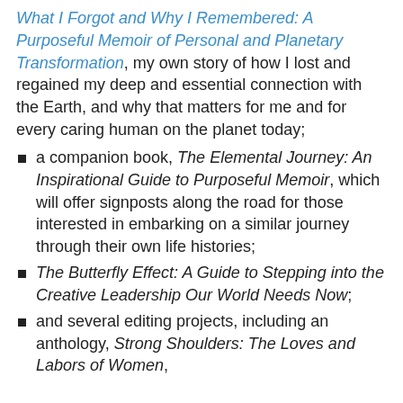What I Forgot and Why I Remembered: A Purposeful Memoir of Personal and Planetary Transformation, my own story of how I lost and regained my deep and essential connection with the Earth, and why that matters for me and for every caring human on the planet today;
a companion book, The Elemental Journey: An Inspirational Guide to Purposeful Memoir, which will offer signposts along the road for those interested in embarking on a similar journey through their own life histories;
The Butterfly Effect: A Guide to Stepping into the Creative Leadership Our World Needs Now;
and several editing projects, including an anthology, Strong Shoulders: The Loves and Labors of Women,